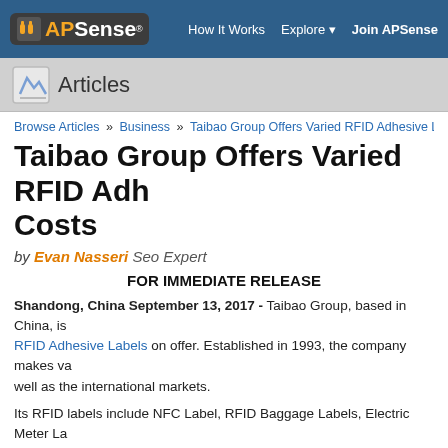APSense | How It Works | Explore | Join APSense
Articles
Browse Articles » Business » Taibao Group Offers Varied RFID Adhesive Labels...
Taibao Group Offers Varied RFID Adhesive Labels at Affordable Costs
by Evan Nasseri Seo Expert
FOR IMMEDIATE RELEASE
Shandong, China September 13, 2017 - Taibao Group, based in China, is RFID Adhesive Labels on offer. Established in 1993, the company makes va well as the international markets.
Its RFID labels include NFC Label, RFID Baggage Labels, Electric Meter La Label, Blood Bag Label, Fragile Label and Double-frequency Label. Each o affordable costs. The products are delivered within a time frame of 10 to 15
The RFID department of the company was set up in 2006. Since that time, t plastic RFID labels, RFID ear tags, RFID baggage labels, RFID fragile label produced at its production unit with the aid of the RFID production equipmen